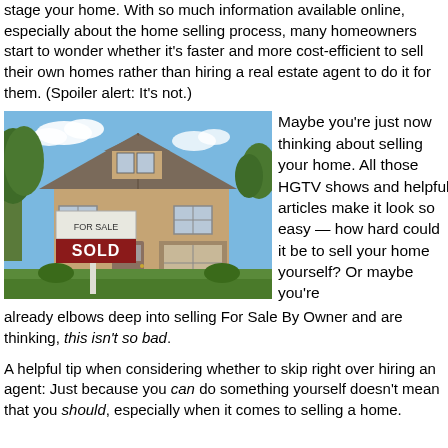stage your home. With so much information available online, especially about the home selling process, many homeowners start to wonder whether it's faster and more cost-efficient to sell their own homes rather than hiring a real estate agent to do it for them. (Spoiler alert: It's not.)
[Figure (photo): Photo of a house with a SOLD real estate sign in the foreground]
Maybe you're just now thinking about selling your home. All those HGTV shows and helpful articles make it look so easy — how hard could it be to sell your home yourself? Or maybe you're already elbows deep into selling For Sale By Owner and are thinking, this isn't so bad.
A helpful tip when considering whether to skip right over hiring an agent: Just because you can do something yourself doesn't mean that you should, especially when it comes to selling a home.